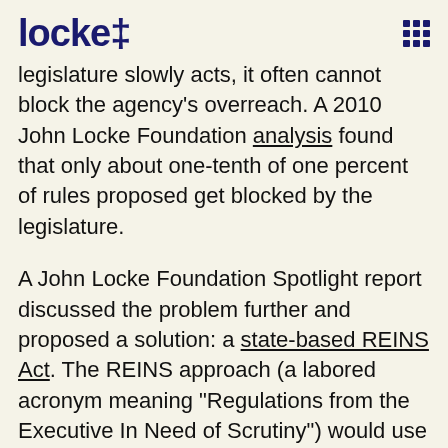locke†
legislature slowly acts, it often cannot block the agency's overreach. A 2010 John Locke Foundation analysis found that only about one-tenth of one percent of rules proposed get blocked by the legislature.
A John Locke Foundation Spotlight report discussed the problem further and proposed a solution: a state-based REINS Act. The REINS approach (a labored acronym meaning "Regulations from the Executive In Need of Scrutiny") would use the deliberative process of the legislature properly when it comes to major rules. How?
It would be a reform of the way rules become...